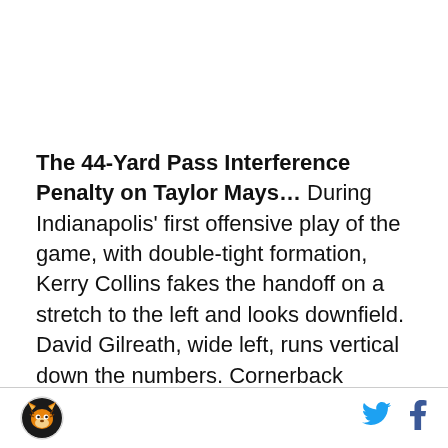The 44-Yard Pass Interference Penalty on Taylor Mays... During Indianapolis' first offensive play of the game, with double-tight formation, Kerry Collins fakes the handoff on a stretch to the left and looks downfield. David Gilreath, wide left, runs vertical down the numbers. Cornerback Jonathan Wade, initially covering Gilreath before the snap, was either assigned the underneath zone or the play-action sucked him in so much that covering the Colts receiver was
[logo] [twitter] [facebook]